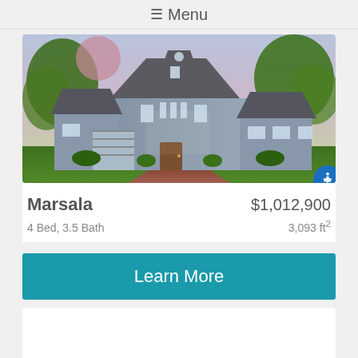≡ Menu
[Figure (photo): Exterior rendering of the Marsala home model — a two-story gray craftsman-style house with large windows, attached garage, brick driveway, green lawn, and trees surrounding it at dusk.]
Marsala   $1,012,900
4 Bed, 3.5 Bath   3,093 ft²
Learn More
[Figure (other): Partially visible card/listing below the Learn More button — content not shown.]